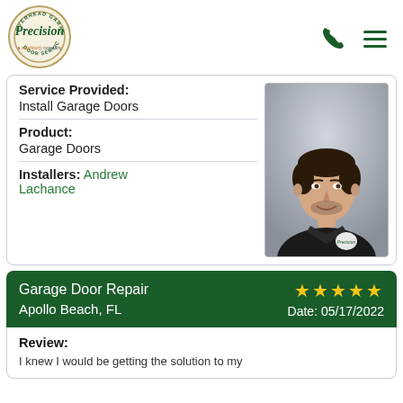[Figure (logo): Precision Door Service logo — circular badge with 'OVERHEAD GARAGE' text at top, 'DOOR SERVICE' at bottom, 'Precision' in large script center. Tagline: 'a neighborly company']
| Service Provided: | Install Garage Doors |
| Product: | Garage Doors |
| Installers: | Andrew Lachance |
[Figure (photo): Headshot of Andrew Lachance, a man in a black Precision uniform shirt, smiling, dark hair, gray background]
Garage Door Repair
Apollo Beach, FL
★★★★★
Date: 05/17/2022
Review:
I knew I would be getting the solution to my...